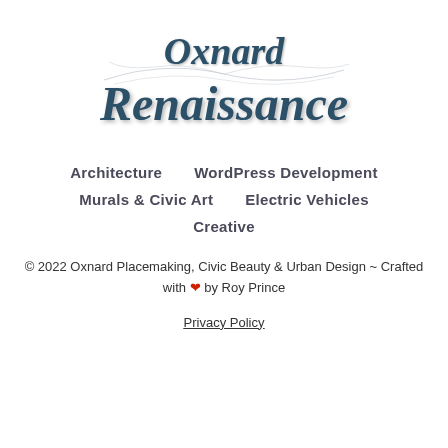[Figure (logo): Oxnard Renaissance decorative script logo with swirling flourish lines]
Architecture    WordPress Development
Murals & Civic Art    Electric Vehicles
Creative
© 2022 Oxnard Placemaking, Civic Beauty & Urban Design ~ Crafted with ❤ by Roy Prince
Privacy Policy